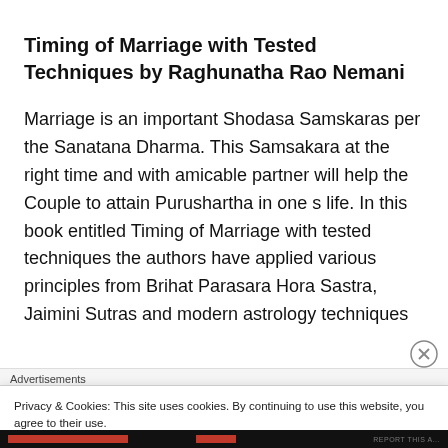Timing of Marriage with Tested Techniques by Raghunatha Rao Nemani
Marriage is an important Shodasa Samskaras per the Sanatana Dharma. This Samsakara at the right time and with amicable partner will help the Couple to attain Purushartha in one s life. In this book entitled Timing of Marriage with tested techniques the authors have applied various principles from Brihat Parasara Hora Sastra, Jaimini Sutras and modern astrology techniques
Advertisements
Privacy & Cookies: This site uses cookies. By continuing to use this website, you agree to their use.
To find out more, including how to control cookies, see here: Cookie Policy
Close and accept